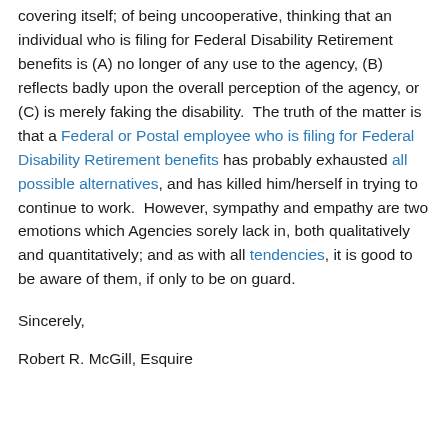covering itself; of being uncooperative, thinking that an individual who is filing for Federal Disability Retirement benefits is (A) no longer of any use to the agency, (B) reflects badly upon the overall perception of the agency, or (C) is merely faking the disability.  The truth of the matter is that a Federal or Postal employee who is filing for Federal Disability Retirement benefits has probably exhausted all possible alternatives, and has killed him/herself in trying to continue to work.  However, sympathy and empathy are two emotions which Agencies sorely lack in, both qualitatively and quantitatively; and as with all tendencies, it is good to be aware of them, if only to be on guard.
Sincerely,
Robert R. McGill, Esquire